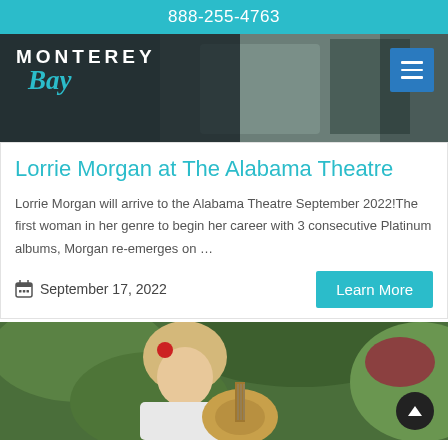888-255-4763
[Figure (photo): Monterey Bay hotel website hero banner with dark overlay showing a person with luggage, Monterey Bay logo on left, teal hamburger menu button on right]
Lorrie Morgan at The Alabama Theatre
Lorrie Morgan will arrive to the Alabama Theatre September 2022!The first woman in her genre to begin her career with 3 consecutive Platinum albums, Morgan re-emerges on …
September 17, 2022
[Figure (photo): Blonde woman with red flower in hair playing a guitar labeled Lorrie Morgan, seated outdoors among green foliage]